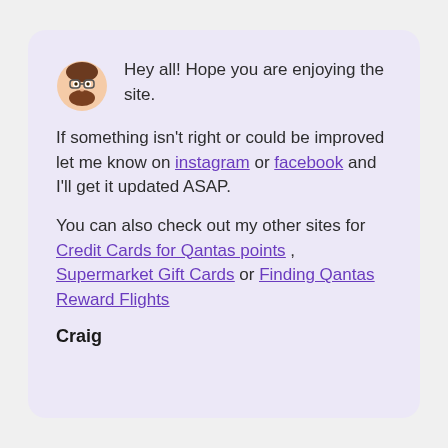Hey all! Hope you are enjoying the site.
If something isn't right or could be improved let me know on instagram or facebook and I'll get it updated ASAP.
You can also check out my other sites for Credit Cards for Qantas points , Supermarket Gift Cards or Finding Qantas Reward Flights
Craig